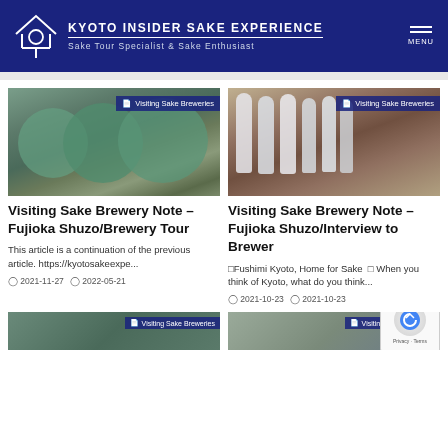KYOTO INSIDER SAKE EXPERIENCE — Sake Tour Specialist & Sake Enthusiast
[Figure (photo): Close-up photo of large green/teal ceramic brewery tanks with metal fittings, category badge: Visiting Sake Breweries]
Visiting Sake Brewery Note – Fujioka Shuzo/Brewery Tour
This article is a continuation of the previous article. https://kyotosakeexpe...
2021-11-27  2022-05-21
[Figure (photo): Photo of multiple sake bottles lined up on a wooden counter, category badge: Visiting Sake Breweries]
Visiting Sake Brewery Note – Fujioka Shuzo/Interview to Brewer
□Fushimi Kyoto, Home for Sake  □ When you think of Kyoto, what do you think...
2021-10-23  2021-10-23
[Figure (photo): Partial view of article image bottom left, category badge: Visiting Sake Breweries]
[Figure (photo): Partial view of article image bottom right, category badge: Visiting Sake Breweries]